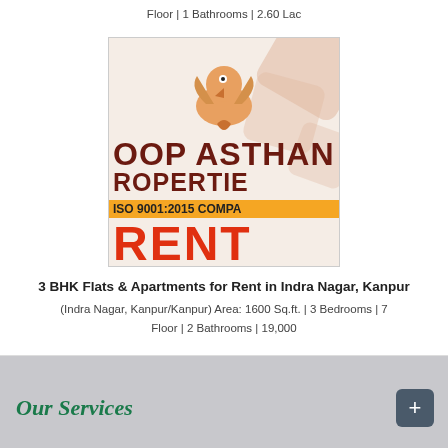Floor | 1 Bathrooms | 2.60 Lac
[Figure (logo): Anoop Asthana Properties logo with bird icon, ISO 9001:2015 COMPANY banner, and RENT text in red]
3 BHK Flats & Apartments for Rent in Indra Nagar, Kanpur
(Indra Nagar, Kanpur/Kanpur) Area: 1600 Sq.ft. | 3 Bedrooms | 7 Floor | 2 Bathrooms | 19,000
Our Services